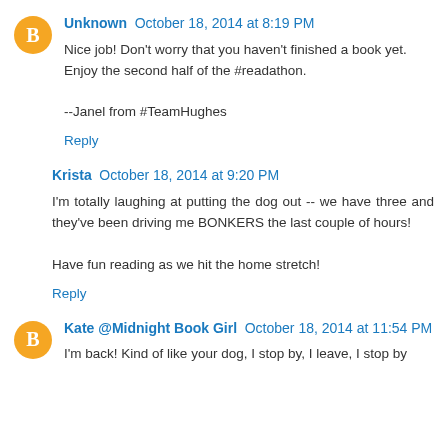Unknown October 18, 2014 at 8:19 PM
Nice job! Don't worry that you haven't finished a book yet. Enjoy the second half of the #readathon.

--Janel from #TeamHughes
Reply
Krista October 18, 2014 at 9:20 PM
I'm totally laughing at putting the dog out -- we have three and they've been driving me BONKERS the last couple of hours!

Have fun reading as we hit the home stretch!
Reply
Kate @Midnight Book Girl October 18, 2014 at 11:54 PM
I'm back! Kind of like your dog, I stop by, I leave, I stop by